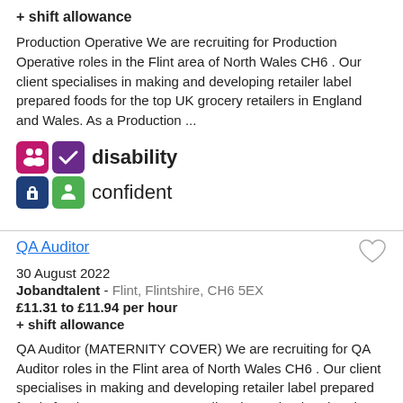+ shift allowance
Production Operative We are recruiting for Production Operative roles in the Flint area of North Wales CH6 . Our client specialises in making and developing retailer label prepared foods for the top UK grocery retailers in England and Wales. As a Production ...
[Figure (logo): Disability Confident employer logo with four coloured icon boxes and text 'disability confident']
QA Auditor
30 August 2022
Jobandtalent - Flint, Flintshire, CH6 5EX
£11.31 to £11.94 per hour
+ shift allowance
QA Auditor (MATERNITY COVER) We are recruiting for QA Auditor roles in the Flint area of North Wales CH6 . Our client specialises in making and developing retailer label prepared foods for the top UK grocery retailers in England and Wales. As a QA ...